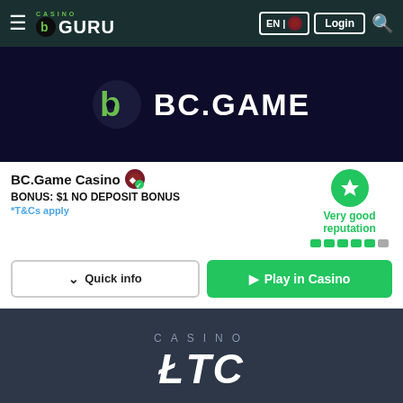[Figure (screenshot): Casino Guru navigation bar with hamburger menu, logo, language selector, login button and search icon]
[Figure (logo): BC.Game Casino banner with dark navy background and BC.GAME logo in white]
BC.Game Casino
BONUS: $1 NO DEPOSIT BONUS
*T&Cs apply
Very good reputation
Quick info
Play in Casino
[Figure (logo): Casino LTC banner with dark grey background showing CASINO text and LTC logo in white italic]